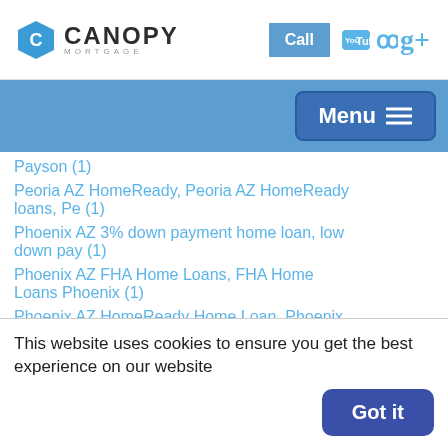[Figure (logo): Canopy Mortgage logo with hexagon C icon, Call button, YouTube, Yelp, and Google+ icons]
[Figure (screenshot): Blue navigation bar with Menu button with hamburger icon on right]
Payson (1)
Peoria AZ HomeReady, Peoria AZ HomeReady loans, Pe (1)
Phoenix AZ 3% down payment home loan, low down pay (1)
Phoenix AZ FHA Home Loans, FHA Home Loans Phoenix (1)
Phoenix AZ HomeReady Home Loan, Phoenix AZ HomeRea (1)
This website uses cookies to ensure you get the best experience on our website